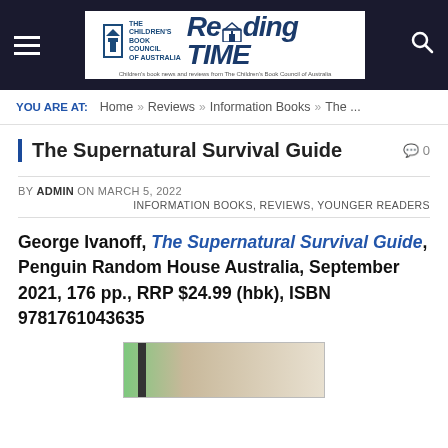THE CHILDREN'S BOOK COUNCIL OF AUSTRALIA — Reading Time — Children's book news and reviews from The Children's Book Council of Australia
YOU ARE AT: Home » Reviews » Information Books » The ...
The Supernatural Survival Guide
BY ADMIN ON MARCH 5, 2022
INFORMATION BOOKS, REVIEWS, YOUNGER READERS
George Ivanoff, The Supernatural Survival Guide, Penguin Random House Australia, September 2021, 176 pp., RRP $24.99 (hbk), ISBN 9781761043635
[Figure (photo): Partial image of the book cover for The Supernatural Survival Guide]